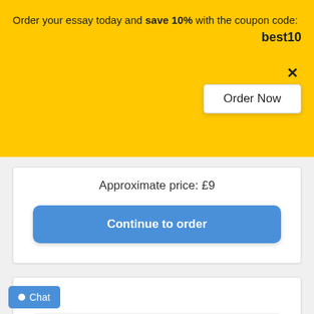Order your essay today and save 10% with the coupon code: best10
[Figure (screenshot): Order Now button with close X on yellow banner]
Approximate price: £9
Continue to order
Essay (any type)
22/09/2021
[Figure (other): 4-star rating shown as black star symbols]
Chat